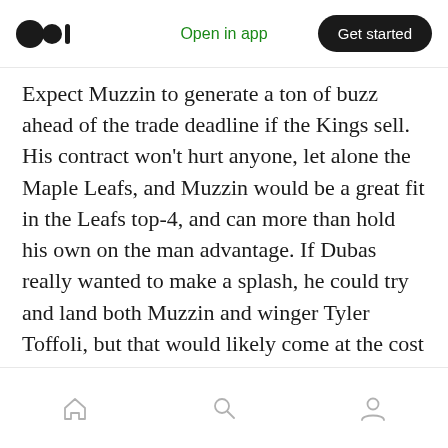Open in app | Get started
Expect Muzzin to generate a ton of buzz ahead of the trade deadline if the Kings sell. His contract won't hurt anyone, let alone the Maple Leafs, and Muzzin would be a great fit in the Leafs top-4, and can more than hold his own on the man advantage. If Dubas really wanted to make a splash, he could try and land both Muzzin and winger Tyler Toffoli, but that would likely come at the cost of Kapanen plus a pretty high draft pick.
Colton Parayko — St. Louis Blues